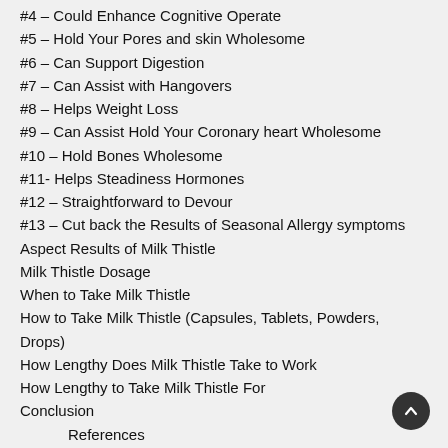#4 – Could Enhance Cognitive Operate
#5 – Hold Your Pores and skin Wholesome
#6 – Can Support Digestion
#7 – Can Assist with Hangovers
#8 – Helps Weight Loss
#9 – Can Assist Hold Your Coronary heart Wholesome
#10 – Hold Bones Wholesome
#11- Helps Steadiness Hormones
#12 – Straightforward to Devour
#13 – Cut back the Results of Seasonal Allergy symptoms
Aspect Results of Milk Thistle
Milk Thistle Dosage
When to Take Milk Thistle
How to Take Milk Thistle (Capsules, Tablets, Powders, Drops)
How Lengthy Does Milk Thistle Take to Work
How Lengthy to Take Milk Thistle For
Conclusion
References